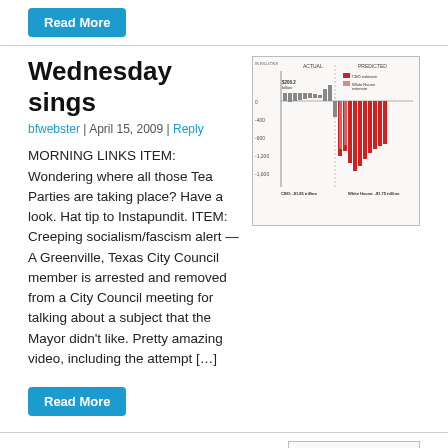Read More
Wednesday sings
bfwebster | April 15, 2009 | Reply
[Figure (bar-chart): Bar chart showing actual and predicted budget deficit figures in billions, with CBO estimate and White House estimate projections. CBO: -$1.85 trillion, White House: -$1.75 trillion]
MORNING LINKS ITEM: Wondering where all those Tea Parties are taking place? Have a look. Hat tip to Instapundit. ITEM: Creeping socialism/fascism alert — A Greenville, Texas City Council member is arrested and removed from a City Council meeting for talking about a subject that the Mayor didn't like. Pretty amazing video, including the attempt […]
Read More
Tuesday stings
bfwebster | April 14, 2009 | 2 Replies
[Figure (other): Tuesday stings image placeholder]
[Here are Wednesday's links as well] MORNING LINKS ITEM: USA Today